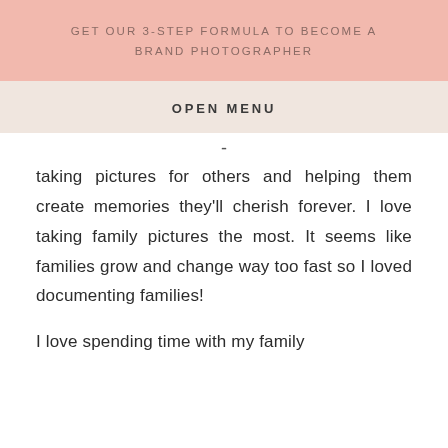GET OUR 3-STEP FORMULA TO BECOME A BRAND PHOTOGRAPHER
OPEN MENU
taking pictures for others and helping them create memories they'll cherish forever. I love taking family pictures the most. It seems like families grow and change way too fast so I loved documenting families!
I love spending time with my family